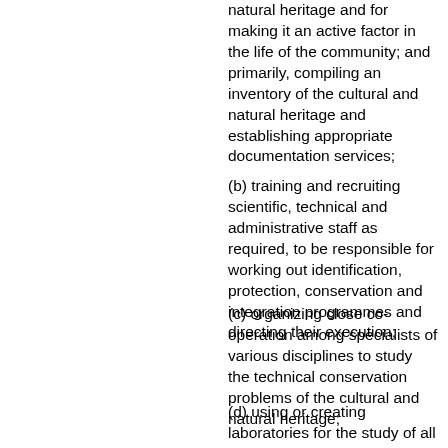natural heritage and for making it an active factor in the life of the community; and primarily, compiling an inventory of the cultural and natural heritage and establishing appropriate documentation services;
(b) training and recruiting scientific, technical and administrative staff as required, to be responsible for working out identification, protection, conservation and integration programmes and directing their execution;
(c) organizing close co-operation among specialists of various disciplines to study the technical conservation problems of the cultural and natural heritage;
(d) using or creating laboratories for the study of all the scientific problems arising in connexion with the conservation of the cultural